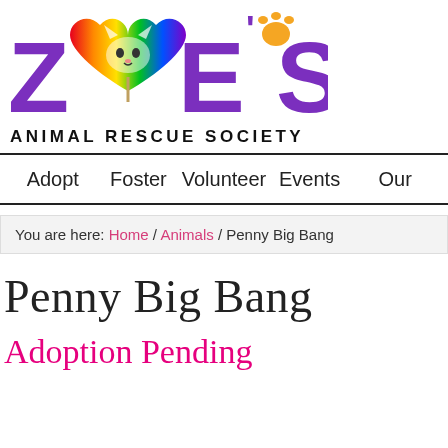[Figure (logo): Zoe's Animal Rescue Society logo with rainbow heart O and paw print, purple bold lettering spelling ZOE'S]
ANIMAL RESCUE SOCIETY
Adopt   Foster   Volunteer   Events   Our
You are here: Home / Animals / Penny Big Bang
Penny Big Bang
Adoption Pending